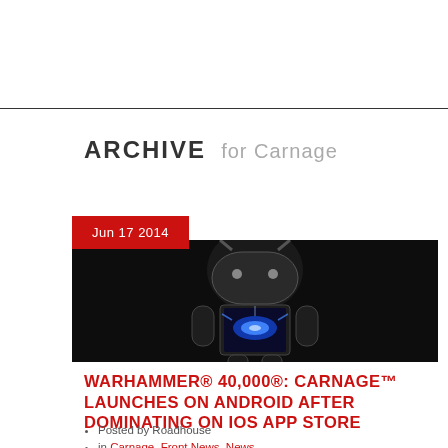ARCHIVE for Carnage
[Figure (photo): Android robot mascot with Warhammer 40,000 Carnage game imagery on dark background]
WARHAMMER® 40,000®: CARNAGE™ LAUNCHES ON ANDROID AFTER DOMINATING ON IOS APP STORE
Posted by Roadhouse
in Carnage, Front News, News